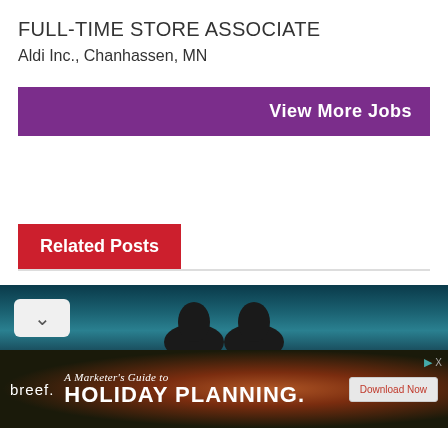FULL-TIME STORE ASSOCIATE
Aldi Inc., Chanhassen, MN
View More Jobs
Related Posts
[Figure (photo): Photo strip showing silhouettes of people against a dark teal/blue background]
[Figure (infographic): Advertisement banner for breef: A Marketer's Guide to HOLIDAY PLANNING. with Download Now button]